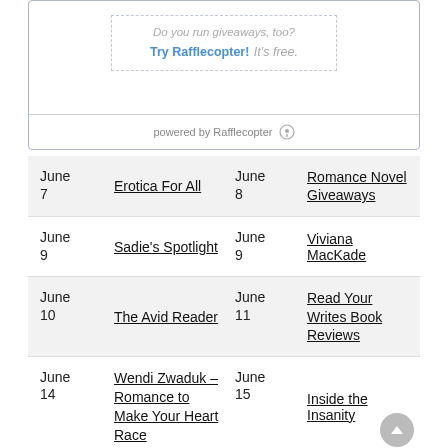[Figure (screenshot): Rafflecopter giveaway widget box with dashed inner border, text 'Do you run giveaways, too? Try Rafflecopter! It's free.' and footer 'powered by Rafflecopter']
| Date | Link | Date | Link |
| --- | --- | --- | --- |
| June 7 | Erotica For All | June 8 | Romance Novel Giveaways |
| June 9 | Sadie's Spotlight | June 9 | Viviana MacKade |
| June 10 | The Avid Reader | June 11 | Read Your Writes Book Reviews |
| June 14 | Wendi Zwaduk – Romance to Make Your Heart Race | June 15 | Inside the Insanity |